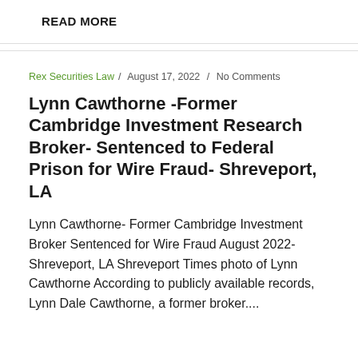READ MORE
Rex Securities Law / August 17, 2022 / No Comments
Lynn Cawthorne -Former Cambridge Investment Research Broker- Sentenced to Federal Prison for Wire Fraud- Shreveport, LA
Lynn Cawthorne- Former Cambridge Investment Broker Sentenced for Wire Fraud August 2022-Shreveport, LA Shreveport Times photo of Lynn Cawthorne According to publicly available records, Lynn Dale Cawthorne, a former broker....